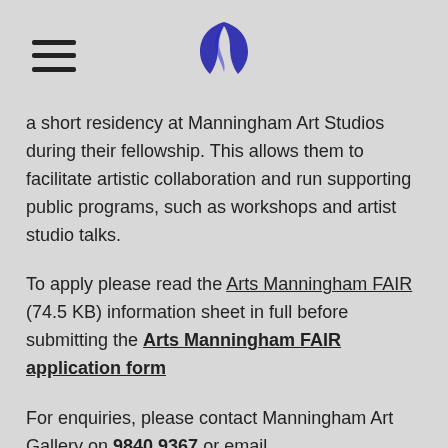[Manningham logo and hamburger menu]
a short residency at Manningham Art Studios during their fellowship. This allows them to facilitate artistic collaboration and run supporting public programs, such as workshops and artist studio talks.
To apply please read the Arts Manningham FAIR (74.5 KB) information sheet in full before submitting the Arts Manningham FAIR application form
For enquiries, please contact Manningham Art Gallery on 9840 9367 or email gallery@manningham.vic.gov.au.
To view the full image: Select and click on first image – click on the i in a circle RHB of opened page then select View Full